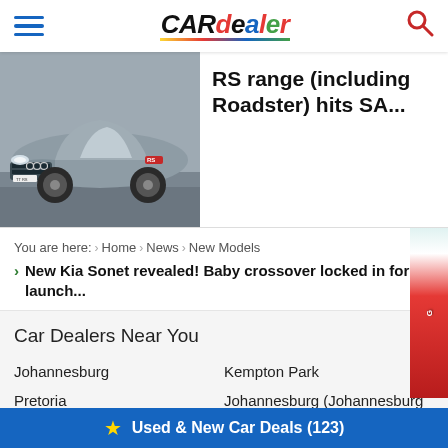CAR dealer - navigation bar with hamburger menu and search icon
[Figure (photo): Grey Audi TT RS sports car front 3/4 view]
RS range (including Roadster) hits SA...
You are here: Home > News > New Models
> New Kia Sonet revealed! Baby crossover locked in for SA launch...
Car Dealers Near You
Johannesburg
Pretoria
Heidelberg
Kempton Park
Johannesburg (Johannesburg CBD)
Gauteng
★ Used & New Car Deals (123)